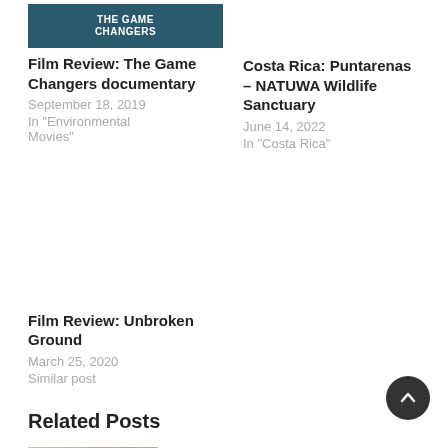[Figure (photo): The Game Changers documentary movie poster/thumbnail with dark teal background and white text]
Film Review: The Game Changers documentary
September 18, 2019
In "Environmental Movies"
Costa Rica: Puntarenas – NATUWA Wildlife Sanctuary
June 14, 2022
In "Costa Rica"
Film Review: Unbroken Ground
March 25, 2020
Similar post
Related Posts
[Figure (photo): A hand holding a small white plastic item, close-up photo]
Fight back against the plastic sack!
Single use plastics are filling our